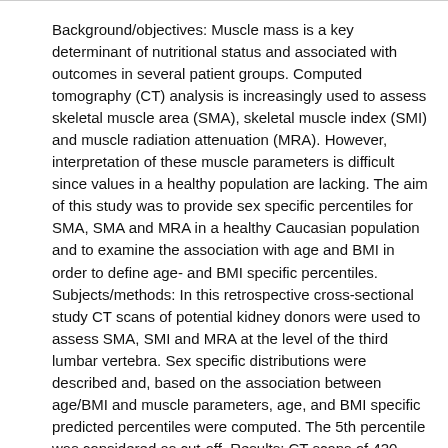Background/objectives: Muscle mass is a key determinant of nutritional status and associated with outcomes in several patient groups. Computed tomography (CT) analysis is increasingly used to assess skeletal muscle area (SMA), skeletal muscle index (SMI) and muscle radiation attenuation (MRA). However, interpretation of these muscle parameters is difficult since values in a healthy population are lacking. The aim of this study was to provide sex specific percentiles for SMA, SMA and MRA in a healthy Caucasian population and to examine the association with age and BMI in order to define age- and BMI specific percentiles. Subjects/methods: In this retrospective cross-sectional study CT scans of potential kidney donors were used to assess SMA, SMI and MRA at the level of the third lumbar vertebra. Sex specific distributions were described and, based on the association between age/BMI and muscle parameters, age, and BMI specific predicted percentiles were computed. The 5th percentile was considered as cut-off. Results: CT scans of 420 Individuals were included (age range 20-82 years and BMI range 17.5-40.7 kg/m2). Sex specific cut-offs of SMA, SMI and MRA were 134.0 cm2, 41.6 cm2/m2 and 29.3 HU in men and 89.2 cm2, 32.0 cm2/m2 and 22.0 HU in women, respectively. Correlations were negative between age and all three muscle parameters, positive between BMI and SMA/SMI and negative between BMI and MRA, resulting in...